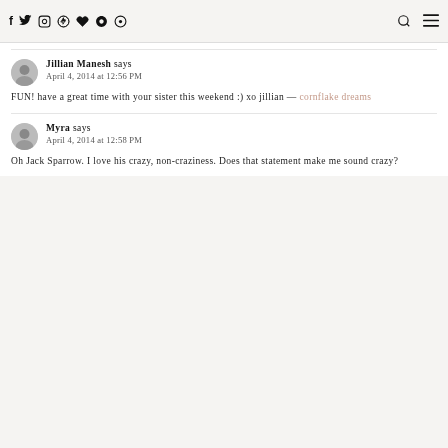Social icons: f, Twitter, Instagram, Pinterest, Heart, Snapchat, Target | Search icon | Menu icon
Jillian Manesh says
April 4, 2014 at 12:56 PM

FUN! have a great time with your sister this weekend :) xo jillian — cornflake dreams
Myra says
April 4, 2014 at 12:58 PM

Oh Jack Sparrow. I love his crazy, non-craziness. Does that statement make me sound crazy?